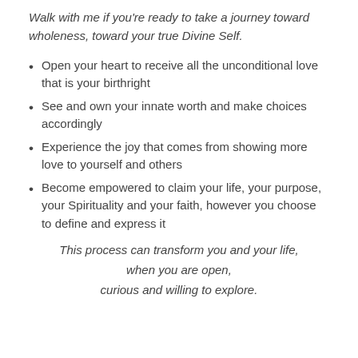Walk with me if you're ready to take a journey toward wholeness, toward your true Divine Self.
Open your heart to receive all the unconditional love that is your birthright
See and own your innate worth and make choices accordingly
Experience the joy that comes from showing more love to yourself and others
Become empowered to claim your life, your purpose, your Spirituality and your faith, however you choose to define and express it
This process can transform you and your life, when you are open, curious and willing to explore.